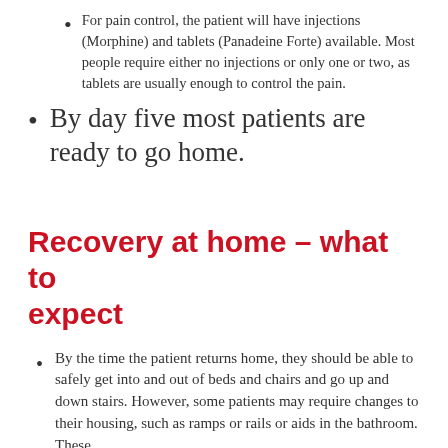For pain control, the patient will have injections (Morphine) and tablets (Panadeine Forte) available. Most people require either no injections or only one or two, as tablets are usually enough to control the pain.
By day five most patients are ready to go home.
Recovery at home – what to expect
By the time the patient returns home, they should be able to safely get into and out of beds and chairs and go up and down stairs. However, some patients may require changes to their housing, such as ramps or rails or aids in the bathroom. These